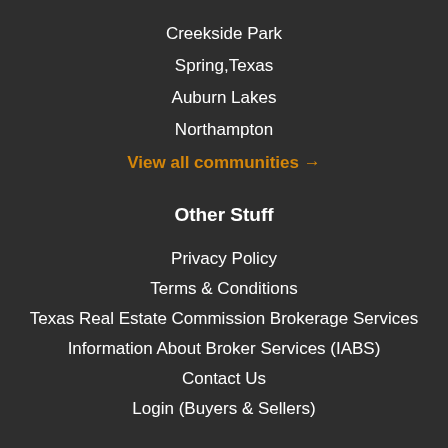Creekside Park
Spring,Texas
Auburn Lakes
Northampton
View all communities →
Other Stuff
Privacy Policy
Terms & Conditions
Texas Real Estate Commission Brokerage Services
Information About Broker Services (IABS)
Contact Us
Login (Buyers & Sellers)